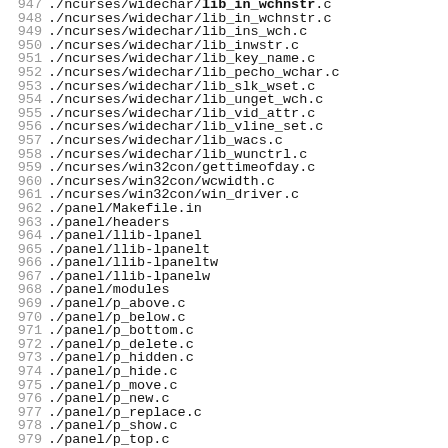947 ./ncurses/widechar/lib_in_wchnstr.c
948 ./ncurses/widechar/lib_in_wchnstr.c
949 ./ncurses/widechar/lib_ins_wch.c
950 ./ncurses/widechar/lib_inwstr.c
951 ./ncurses/widechar/lib_key_name.c
952 ./ncurses/widechar/lib_pecho_wchar.c
953 ./ncurses/widechar/lib_slk_wset.c
954 ./ncurses/widechar/lib_unget_wch.c
955 ./ncurses/widechar/lib_vid_attr.c
956 ./ncurses/widechar/lib_vline_set.c
957 ./ncurses/widechar/lib_wacs.c
958 ./ncurses/widechar/lib_wunctrl.c
959 ./ncurses/win32con/gettimeofday.c
960 ./ncurses/win32con/wcwidth.c
961 ./ncurses/win32con/win_driver.c
962 ./panel/Makefile.in
963 ./panel/headers
964 ./panel/llib-lpanel
965 ./panel/llib-lpanelt
966 ./panel/llib-lpaneltw
967 ./panel/llib-lpanelw
968 ./panel/modules
969 ./panel/p_above.c
970 ./panel/p_below.c
971 ./panel/p_bottom.c
972 ./panel/p_delete.c
973 ./panel/p_hidden.c
974 ./panel/p_hide.c
975 ./panel/p_move.c
976 ./panel/p_new.c
977 ./panel/p_replace.c
978 ./panel/p_show.c
979 ./panel/p_top.c